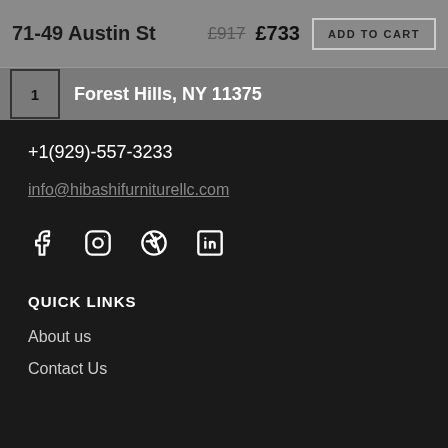71-49 Austin St   £917 £733   ADD TO CART
1   Forest Hills, NY 11375
+1(929)-557-3233
info@hibashifurniturellc.com
[Figure (other): Social media icons: Facebook, Instagram, Pinterest, LinkedIn]
QUICK LINKS
About us
Contact Us